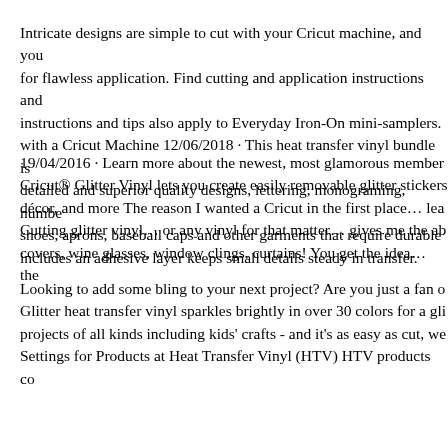Intricate designs are simple to cut with your Cricut machine, and you for flawless application. Find cutting and application instructions and instructions and tips also apply to Everyday Iron-On mini-samplers. with a Cricut Machine 12/06/2018 · This heat transfer vinyl bundle is detailed and superior quality designs, lettering, monograming, numbe shoes, aprons, baseball caps and other garments that require durable includes an adhesive layer keeps small details steady in transfer.
19/04/2016 · Learn more about the newest, most glamorous member Cricut® Glitter Vinyl lets you create easily removable glitter stickers décor, and more The reason I wanted a Cricut in the first place… lea Cutting glitter vinyl… or any vinyl for that matter… gives me the ab covers, wine glasses, window clings, curtains! You get the idea… the
Looking to add some bling to your next project? Are you just a fan o Glitter heat transfer vinyl sparkles brightly in over 30 colors for a gli projects of all kinds including kids' crafts - and it's as easy as cut, we Settings for Products at Heat Transfer Vinyl (HTV) HTV products co